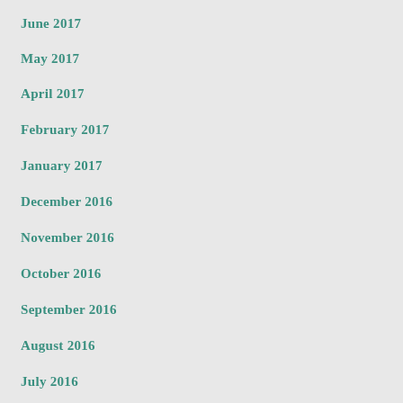June 2017
May 2017
April 2017
February 2017
January 2017
December 2016
November 2016
October 2016
September 2016
August 2016
July 2016